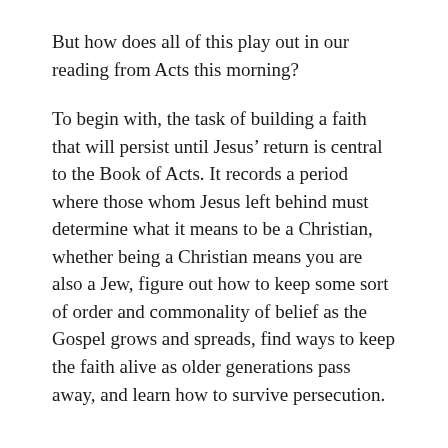But how does all of this play out in our reading from Acts this morning?
To begin with, the task of building a faith that will persist until Jesus’ return is central to the Book of Acts. It records a period where those whom Jesus left behind must determine what it means to be a Christian, whether being a Christian means you are also a Jew, figure out how to keep some sort of order and commonality of belief as the Gospel grows and spreads, find ways to keep the faith alive as older generations pass away, and learn how to survive persecution.